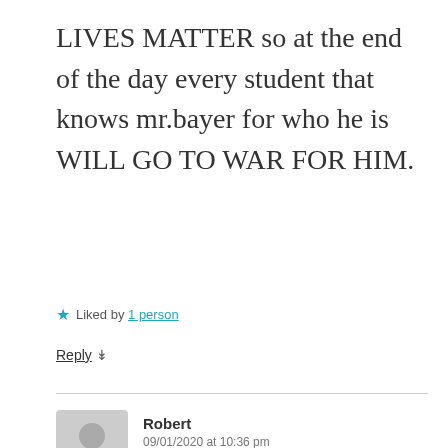LIVES MATTER so at the end of the day every student that knows mr.bayer for who he is WILL GO TO WAR FOR HIM.
★ Liked by 1 person
Reply ↓
Robert
09/01/2020 at 10:36 pm
Wow! That principle ran a shit school if he allowed you and most of the others on here to actually graduate. If this is the